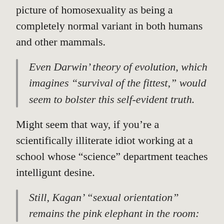picture of homosexuality as being a completely normal variant in both humans and other mammals.
Even Darwin’ theory of evolution, which imagines “survival of the fittest,” would seem to bolster this self-evident truth.
Might seem that way, if you’re a scientifically illiterate idiot working at a school whose “science” department teaches intelligunt desine.
Still, Kagan’ “sexual orientation” remains the pink elephant in the room:
Wait, she’s a gay man? Because if I were a meaty-fingered bigot writing an anti-gay article on the internet, I would have called it the “flannel elephant in the room.” I mean, lord. But this is just another case of “yep, liberals are still the only ones who have a sense